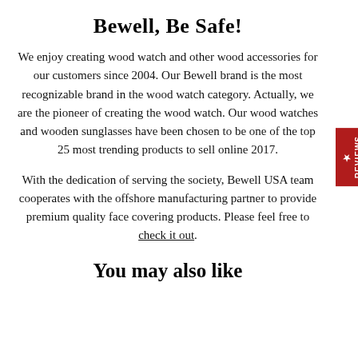Bewell, Be Safe!
We enjoy creating wood watch and other wood accessories for our customers since 2004. Our Bewell brand is the most recognizable brand in the wood watch category. Actually, we are the pioneer of creating the wood watch. Our wood watches and wooden sunglasses have been chosen to be one of the top 25 most trending products to sell online 2017.
With the dedication of serving the society, Bewell USA team cooperates with the offshore manufacturing partner to provide premium quality face covering products. Please feel free to check it out.
You may also like